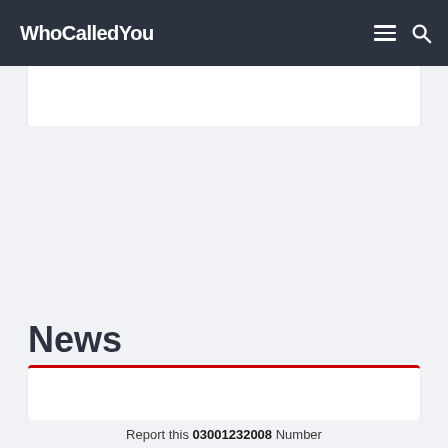WhoCalledYou
News
Report this 03001232008 Number